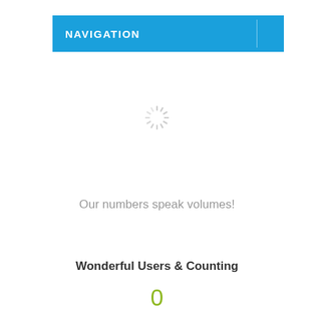NAVIGATION
[Figure (illustration): Loading spinner icon — circular arrangement of short grey lines radiating from center, like a clock face]
Our numbers speak volumes!
Wonderful Users & Counting
0